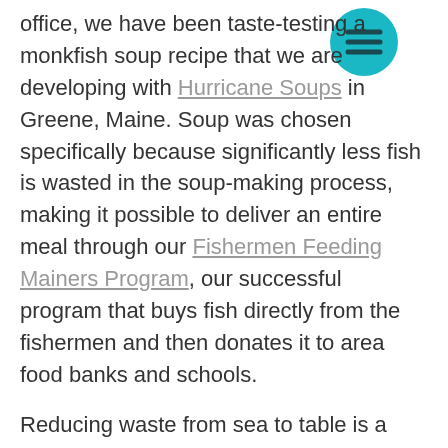office, we have been taste-testing a monkfish soup recipe that we are developing with Hurricane Soups in Greene, Maine. Soup was chosen specifically because significantly less fish is wasted in the soup-making process, making it possible to deliver an entire meal through our Fishermen Feeding Mainers Program, our successful program that buys fish directly from the fishermen and then donates it to area food banks and schools.
Reducing waste from sea to table is a win-win for everyone - a higher price for fishermen, a more sustainable seafood supply chain, and more delicious products for you and me to eat at home!.
This blog post was written by MCFA
[Figure (other): Teal circular hamburger menu icon with three horizontal lines]